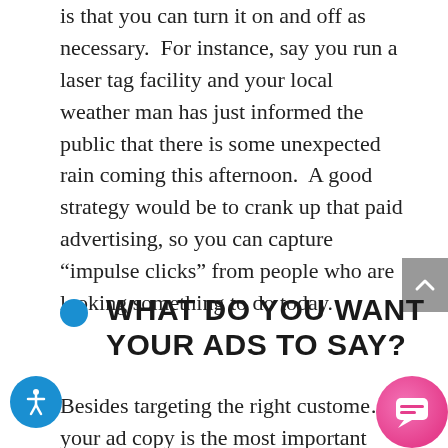is that you can turn it on and off as necessary.  For instance, say you run a laser tag facility and your local weather man has just informed the public that there is some unexpected rain coming this afternoon.  A good strategy would be to crank up that paid advertising, so you can capture “impulse clicks” from people who are looking something to do today.
WHAT DO YOU WANT YOUR ADS TO SAY?
Besides targeting the right customers, your ad copy is the most important